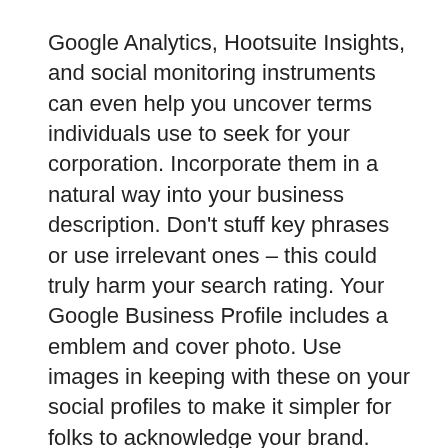Google Analytics, Hootsuite Insights, and social monitoring instruments can even help you uncover terms individuals use to seek for your corporation. Incorporate them in a natural way into your business description. Don't stuff key phrases or use irrelevant ones – this could truly harm your search rating. Your Google Business Profile includes a emblem and cover photo. Use images in keeping with these on your social profiles to make it simpler for folks to acknowledge your brand.
When businesses want to boost money , they generally supply securities for sale. Transportation businesses similar to railways, airlines, and delivery companies ship items and people to their locations for a charge. There are, nonetheless, many, many sub-categories of types of company that can be shaped in various jurisdictions on the planet.